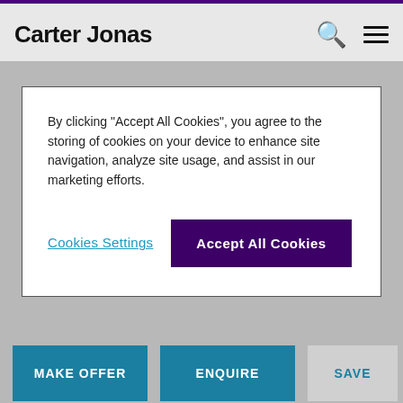Carter Jonas
By clicking "Accept All Cookies", you agree to the storing of cookies on your device to enhance site navigation, analyze site usage, and assist in our marketing efforts.
Cookies Settings
Accept All Cookies
MAKE OFFER
ENQUIRE
SAVE